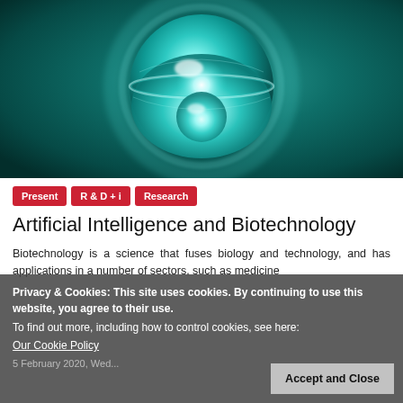[Figure (illustration): A glowing cyan/teal sphere with a disc through its equator — resembling a stylized cell or atom — on a dark teal background.]
Present
R & D + i
Research
Artificial Intelligence and Biotechnology
Biotechnology is a science that fuses biology and technology, and has applications in a number of sectors, such as medicine, pharmaceutics, agri-food, and so on. Different social processes...
Privacy & Cookies: This site uses cookies. By continuing to use this website, you agree to their use.
To find out more, including how to control cookies, see here:
Our Cookie Policy
5 February 2020, Wednesday